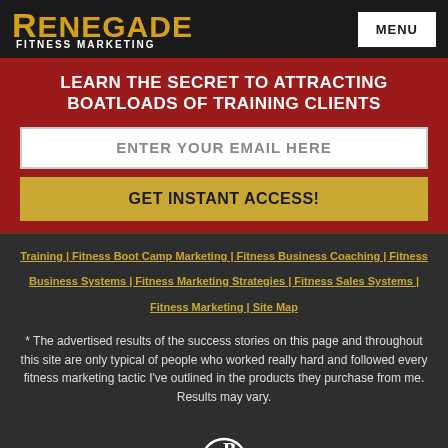RENEGADE FITNESS MARKETING | MENU
LEARN THE SECRET TO ATTRACTING BOATLOADS OF TRAINING CLIENTS
ENTER YOUR EMAIL HERE
GET INSTANT ACCESS!
Training | Fitness Boot Camp Marketing | Fitness Business Coaching | Fitness Business Systems | Fitness Marketing Strategies | Fitness Sales Systems | Fitness Marketing | Site Map
* The advertised results of the success stories on this page and throughout this site are only typical of people who worked really hard and followed every fitness marketing tactic I've outlined in the products they purchase from me. Results may vary.
[Figure (logo): Keuilian Inc monogram logo in white]
© 2022 Keuilian Inc